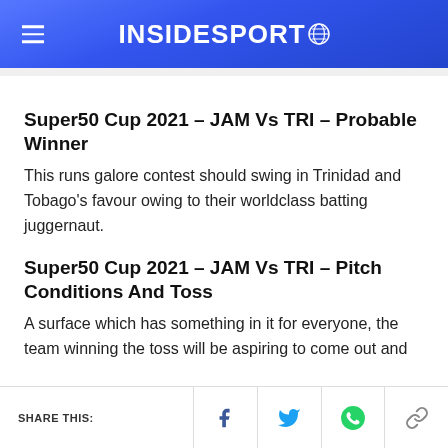INSIDESPORT
Super50 Cup 2021 – JAM Vs TRI – Probable Winner
This runs galore contest should swing in Trinidad and Tobago's favour owing to their worldclass batting juggernaut.
Super50 Cup 2021 – JAM Vs TRI – Pitch Conditions And Toss
A surface which has something in it for everyone, the team winning the toss will be aspiring to come out and
SHARE THIS: